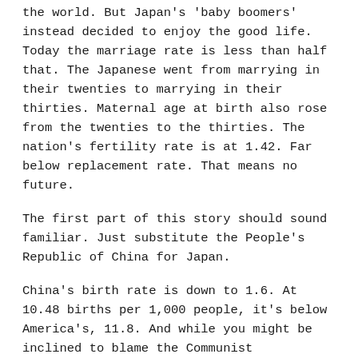the world. But Japan's 'baby boomers' instead decided to enjoy the good life. Today the marriage rate is less than half that. The Japanese went from marrying in their twenties to marrying in their thirties. Maternal age at birth also rose from the twenties to the thirties. The nation's fertility rate is at 1.42. Far below replacement rate. That means no future.
The first part of this story should sound familiar. Just substitute the People's Republic of China for Japan.
China's birth rate is down to 1.6. At 10.48 births per 1,000 people, it's below America's, 11.8. And while you might be inclined to blame the Communist dictatorship's One Child Policy, the PRC trashed the OCP precisely because the regime is worried about its declining birth rate. The PRC's poor birth rate has its